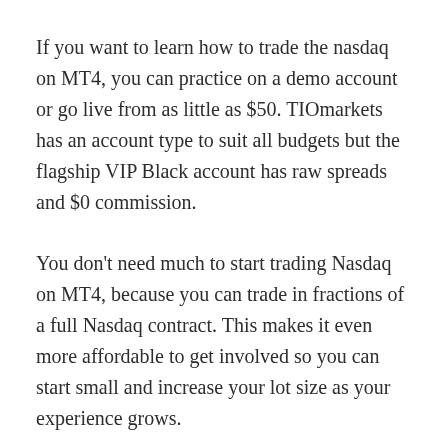If you want to learn how to trade the nasdaq on MT4, you can practice on a demo account or go live from as little as $50. TIOmarkets has an account type to suit all budgets but the flagship VIP Black account has raw spreads and $0 commission.
You don't need much to start trading Nasdaq on MT4, because you can trade in fractions of a full Nasdaq contract. This makes it even more affordable to get involved so you can start small and increase your lot size as your experience grows.
Start learning how to trade Nasdaq on MT4 or MT5 today click here to register your account.